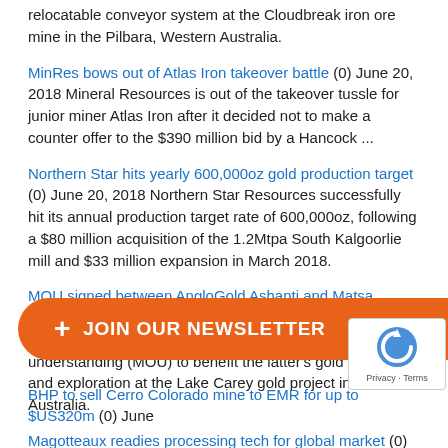relocatable conveyor system at the Cloudbreak iron ore mine in the Pilbara, Western Australia.
MinRes bows out of Atlas Iron takeover battle (0) June 20, 2018 Mineral Resources is out of the takeover tussle for junior miner Atlas Iron after it decided not to make a counter offer to the $390 million bid by a Hancock ...
Northern Star hits yearly 600,000oz gold production target (0) June 20, 2018 Northern Star Resources successfully hit its annual production target rate of 600,000oz, following a $80 million acquisition of the 1.2Mtpa South Kalgoorlie mill and $33 million expansion in March 2018.
MOU signed between AngloGold Ashanti and Matsa Resources (0) June 20, 2018 AngloGold Ashanti Australia and Matsa Resources have signed a memorandum of understanding (MOU) to benefit the latter's gold mining and exploration at the Lake Carey gold project in Western Australia.
Magotteaux readies processing tech for global market (0) June 20, 2018 Magotteaux's pulp chemistry monitor made a big impression at the 2016 Prospect Awards, winning the Minerals Processing of the Year award. Magotteaux's Dr Christopher Greet tells Australian Mining about how ...
Titan Minerals wins shareholder approval for Andina takeover (0) June ... Titan Minerals has secured ... ition of Andina Re... ... ounced in March.
BHP to sell Cerro Colorado mine to EMR for up to $US320m (0) June